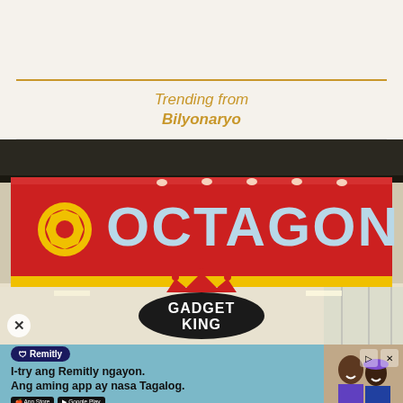Trending from
Bilyonaryo
[Figure (photo): Octagon electronics store signage with large red illuminated sign showing 'OCTAGON' in silver letters with yellow circular logo on left. Below is a 'Gadget King' sign with red crown logo on black oval badge. Mall interior visible.]
[Figure (infographic): Remitly advertisement banner with teal background. Text reads: 'I-try ang Remitly ngayon. Ang aming app ay nasa Tagalog.' with Remitly logo badge, App Store and Google Play download buttons, play/close buttons, and photo of two smiling people.]